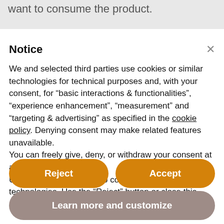want to consume the product.
Notice
We and selected third parties use cookies or similar technologies for technical purposes and, with your consent, for “basic interactions & functionalities”, “experience enhancement”, “measurement” and “targeting & advertising” as specified in the cookie policy. Denying consent may make related features unavailable.
You can freely give, deny, or withdraw your consent at any time.
Use the “Accept” button to consent to the use of such technologies. Use the “Reject” button or close this notice to continue without accepting.
Reject
Accept
Learn more and customize